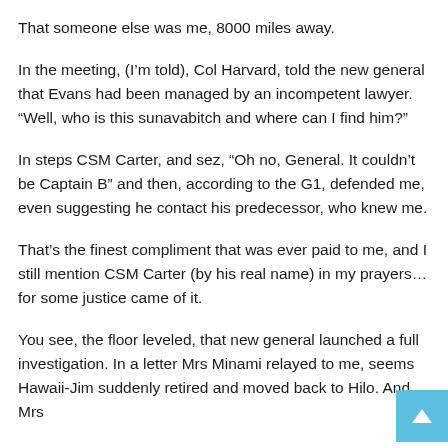That someone else was me, 8000 miles away.
In the meeting, (I'm told), Col Harvard, told the new general that Evans had been managed by an incompetent lawyer. “Well, who is this sunavabitch and where can I find him?”
In steps CSM Carter, and sez, “Oh no, General. It couldn’t be Captain B” and then, according to the G1, defended me, even suggesting he contact his predecessor, who knew me.
That’s the finest compliment that was ever paid to me, and I still mention CSM Carter (by his real name) in my prayers…for some justice came of it.
You see, the floor leveled, that new general launched a full investigation. In a letter Mrs Minami relayed to me, seems Hawaii-Jim suddenly retired and moved back to Hilo. And Mrs